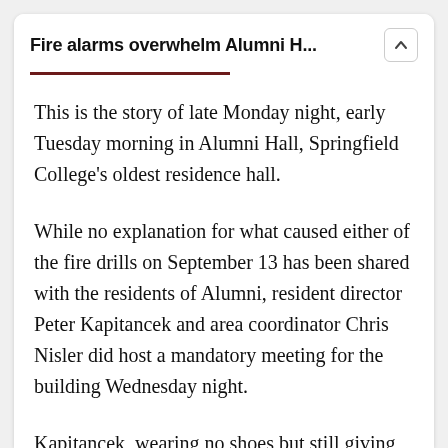Fire alarms overwhelm Alumni H...
This is the story of late Monday night, early Tuesday morning in Alumni Hall, Springfield College's oldest residence hall.
While no explanation for what caused either of the fire drills on September 13 has been shared with the residents of Alumni, resident director Peter Kapitancek and area coordinator Chris Nisler did host a mandatory meeting for the building Wednesday night.
Kapitancek, wearing no shoes but still giving off a professional vibe, addressed the packed Carlisle